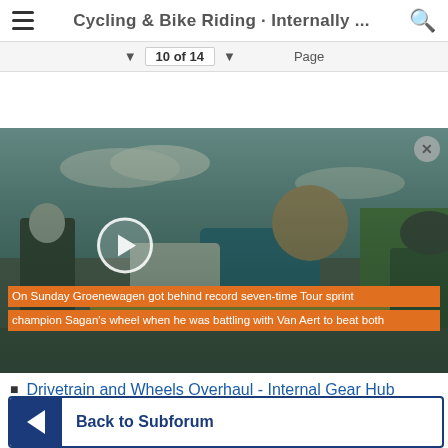Cycling & Bike Riding - Internally ...
10 of 14   Page
Subscribe 🔔
[Figure (photo): Video thumbnail showing people hugging at a cycling event. Orange caption bars read: 'On Sunday Groenewagen got behind record seven-time Tour sprint champion Sagan's wheel when he was battling with Van Aert to beat both']
Drivetrain and Wheels Overhaul - Internal Gear Hub Commuter
Back to Subforum